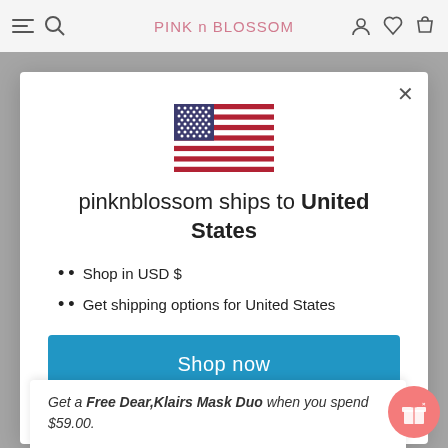PINK n BLOSSOM
[Figure (illustration): US flag displayed in modal dialog]
pinknblossom ships to United States
Shop in USD $
Get shipping options for United States
Shop now
Change shipping country
Get a Free Dear,Klairs Mask Duo when you spend $59.00.